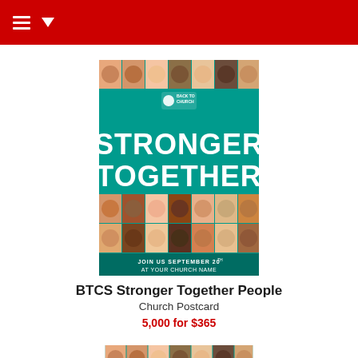[Figure (illustration): BTCS Stronger Together People Church Postcard product image — teal background with grid of diverse people faces, large white text STRONGER TOGETHER, circle Back to Church logo, JOIN US SEPTEMBER 20TH AT YOUR CHURCH NAME text at bottom]
BTCS Stronger Together People
Church Postcard
5,000 for $365
[Figure (illustration): Second BTCS Stronger Together People postcard product image — partial view, teal background with diverse people faces and STRONGER TOGETHER text visible]